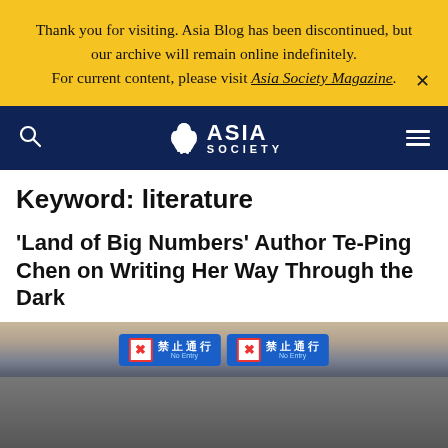Thank you for visiting. Asia Blog has been discontinued, but our archive will remain online indefinitely. For current content, please visit Asia Society Magazine.
[Figure (logo): Asia Society logo with lion icon and text 'ASIA SOCIETY' on dark navy navigation bar with search and menu icons]
Keyword: literature
'Land of Big Numbers' Author Te-Ping Chen on Writing Her Way Through the Dark
[Figure (photo): Photo of a subway or transit station entrance with blue 'No Entry' signs in Chinese (禁止通行) and a crowd of people passing through]